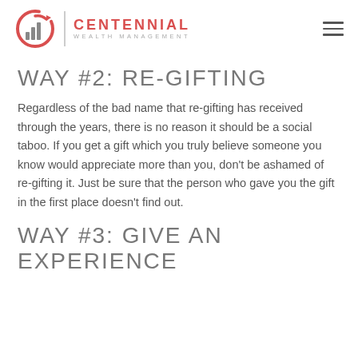CENTENNIAL WEALTH MANAGEMENT
WAY #2: RE-GIFTING
Regardless of the bad name that re-gifting has received through the years, there is no reason it should be a social taboo. If you get a gift which you truly believe someone you know would appreciate more than you, don't be ashamed of re-gifting it. Just be sure that the person who gave you the gift in the first place doesn't find out.
WAY #3: GIVE AN EXPERIENCE